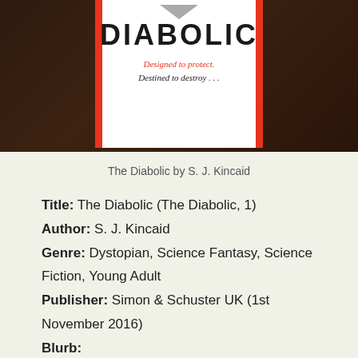[Figure (photo): Photo of the book 'The Diabolic' by S. J. Kincaid lying on a dark wooden surface. The book cover shows the title 'DIABOLIC' in large bold letters with red side borders, and the tagline 'Designed to protect. Destined to destroy...' in red and black italic text.]
The Diabolic by S. J. Kincaid
Title: The Diabolic (The Diabolic, 1)
Author: S. J. Kincaid
Genre: Dystopian, Science Fantasy, Science Fiction, Young Adult
Publisher: Simon & Schuster UK (1st November 2016)
Blurb: